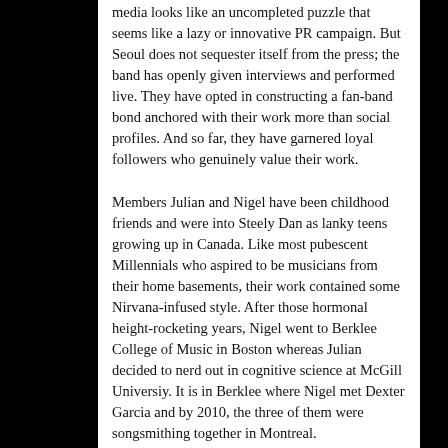media looks like an uncompleted puzzle that seems like a lazy or innovative PR campaign. But Seoul does not sequester itself from the press; the band has openly given interviews and performed live. They have opted in constructing a fan-band bond anchored with their work more than social profiles. And so far, they have garnered loyal followers who genuinely value their work.
Members Julian and Nigel have been childhood friends and were into Steely Dan as lanky teens growing up in Canada. Like most pubescent Millennials who aspired to be musicians from their home basements, their work contained some Nirvana-infused style. After those hormonal height-rocketing years, Nigel went to Berklee College of Music in Boston whereas Julian decided to nerd out in cognitive science at McGill Universiy. It is in Berklee where Nigel met Dexter Garcia and by 2010, the three of them were songsmithing together in Montreal.